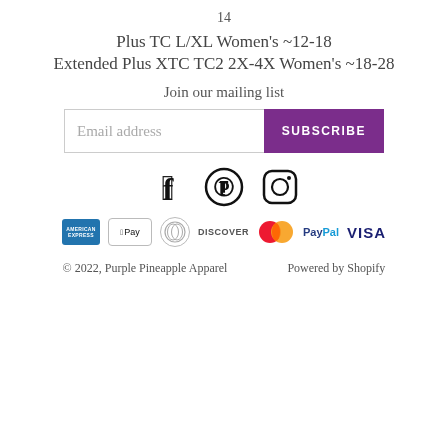14
Plus TC L/XL Women’s ~12-18
Extended Plus XTC TC2 2X-4X Women’s ~18-28
Join our mailing list
[Figure (infographic): Email subscription form with Email address input field and purple SUBSCRIBE button]
[Figure (infographic): Social media icons: Facebook, Pinterest, Instagram]
[Figure (infographic): Payment method logos: American Express, Apple Pay, Diners Club, Discover, Mastercard, PayPal, Visa]
© 2022, Purple Pineapple Apparel    Powered by Shopify